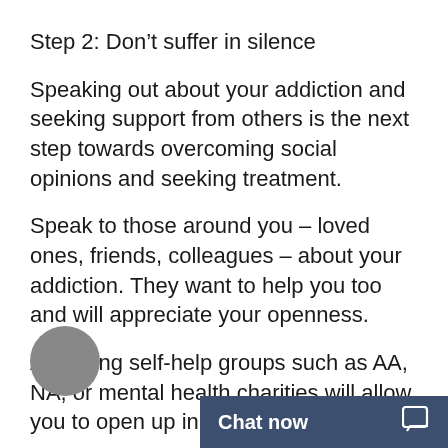Step 2: Don’t suffer in silence
Speaking out about your addiction and seeking support from others is the next step towards overcoming social opinions and seeking treatment.
Speak to those around you – loved ones, friends, colleagues – about your addiction. They want to help you too and will appreciate your openness.
Attending self-help groups such as AA, NA, or mental health charities will allow you to open up in an understan